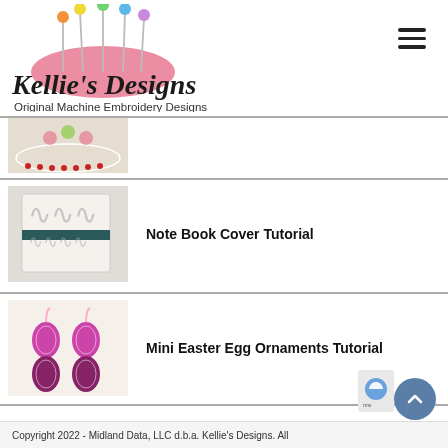Kellie's Designs - Original Machine Embroidery Designs
[Figure (photo): Partially visible embroidery thumbnail at top]
Note Book Cover Tutorial
[Figure (photo): Notebook cover with floral embroidery pattern and dark band]
Mini Easter Egg Ornaments Tutorial
[Figure (photo): Pink embroidered Easter egg ornaments shaped like teardrops]
Copyright 2022 - Midland Data, LLC d.b.a. Kellie's Designs. All